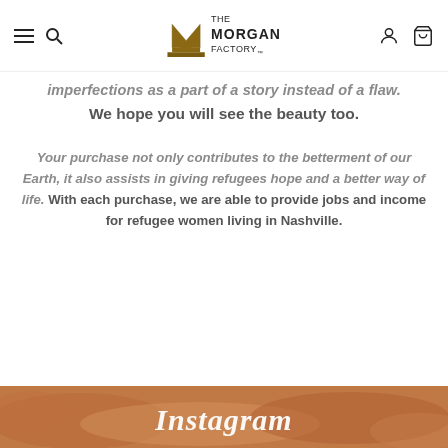the MORGAN factory — navigation header with hamburger, search, logo, account, cart
imperfections as a part of a story instead of a flaw. We hope you will see the beauty too.
Your purchase not only contributes to the betterment of our Earth, it also assists in giving refugees hope and a better way of life. With each purchase, we are able to provide jobs and income for refugee women living in Nashville.
[Figure (illustration): Instagram script lettering banner with brown/terracotta watercolor background showing the word 'Instagram']